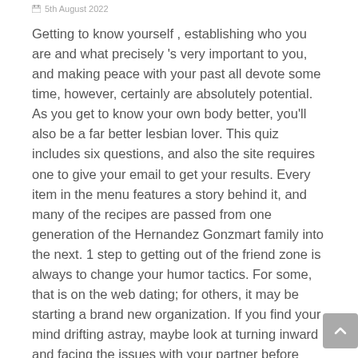5th August 2022
Getting to know yourself , establishing who you are and what precisely 's very important to you, and making peace with your past all devote some time, however, certainly are absolutely potential. As you get to know your own body better, you'll also be a far better lesbian lover. This quiz includes six questions, and also the site requires one to give your email to get your results. Every item in the menu features a story behind it, and many of the recipes are passed from one generation of the Hernandez Gonzmart family into the next. 1 step to getting out of the friend zone is always to change your humor tactics. For some, that is on the web dating; for others, it may be starting a brand new organization. If you find your mind drifting astray, maybe look at turning inward and facing the issues with your partner before pulling in other men and women. African-Americans were 20 per cent more likely to have a one-nighter than